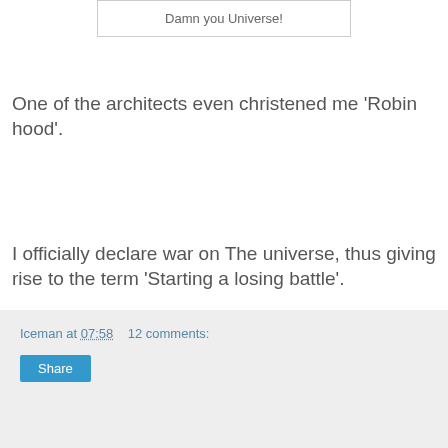Damn you Universe!
One of the architects even christened me 'Robin hood'.
I officially declare war on The universe, thus giving rise to the term 'Starting a losing battle'.
Iceman at 07:58   12 comments:
Share